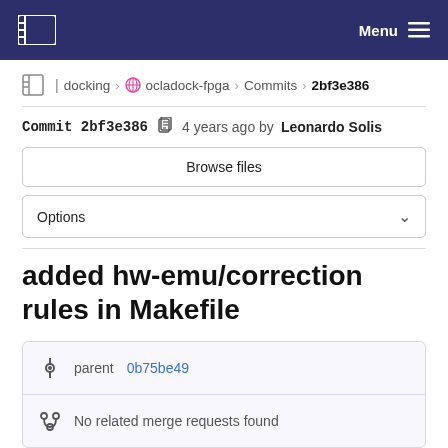ESA | Menu
docking > ocladock-fpga > Commits > 2bf3e386
Commit 2bf3e386  4 years ago by Leonardo Solis
Browse files
Options
added hw-emu/correction rules in Makefile
parent 0b75be49
No related merge requests found